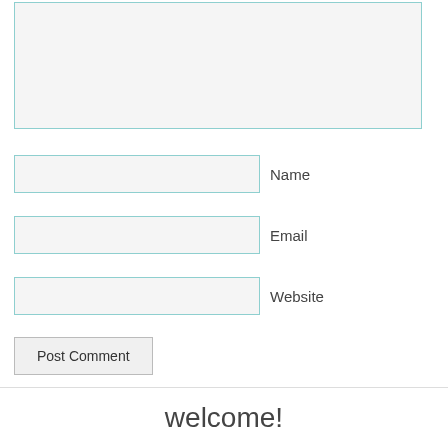[Figure (screenshot): A comment form with a large textarea at the top, followed by three input fields labeled Name, Email, and Website, a Post Comment button, and a welcome section at the bottom.]
Name
Email
Website
Post Comment
welcome!